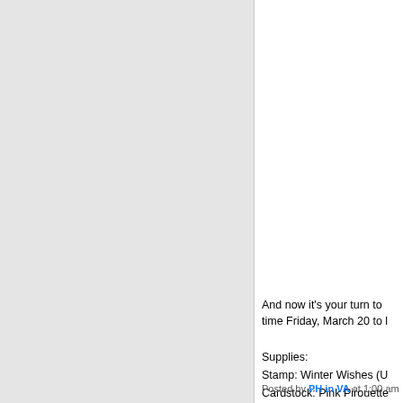[Figure (photo): Left panel showing a light gray background area, likely a cropped image area]
And now it's your turn to time Friday, March 20 to l
Supplies:
Stamp: Winter Wishes (U
Cardstock: Pink Pirouette
Ink: Pink Pirouette (SU)
Other: Snowflakes embos
[Figure (infographic): Social share buttons: Facebook, Twitter, Email, and More (plus icon)]
Posted by PH in VA at 1:00 am